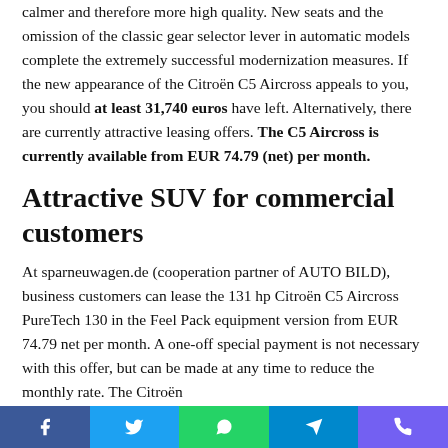calmer and therefore more high quality. New seats and the omission of the classic gear selector lever in automatic models complete the extremely successful modernization measures. If the new appearance of the Citroën C5 Aircross appeals to you, you should at least 31,740 euros have left. Alternatively, there are currently attractive leasing offers. The C5 Aircross is currently available from EUR 74.79 (net) per month.
Attractive SUV for commercial customers
At sparneuwagen.de (cooperation partner of AUTO BILD), business customers can lease the 131 hp Citroën C5 Aircross PureTech 130 in the Feel Pack equipment version from EUR 74.79 net per month. A one-off special payment is not necessary with this offer, but can be made at any time to reduce the monthly rate. The Citroën...